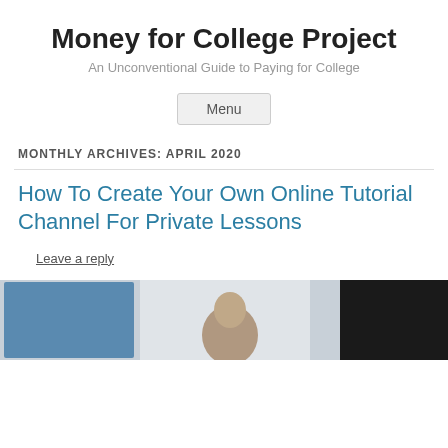Money for College Project
An Unconventional Guide to Paying for College
Menu
MONTHLY ARCHIVES: APRIL 2020
How To Create Your Own Online Tutorial Channel For Private Lessons
Leave a reply
[Figure (photo): A person standing in front of a display or screen, photo cropped at bottom of page]